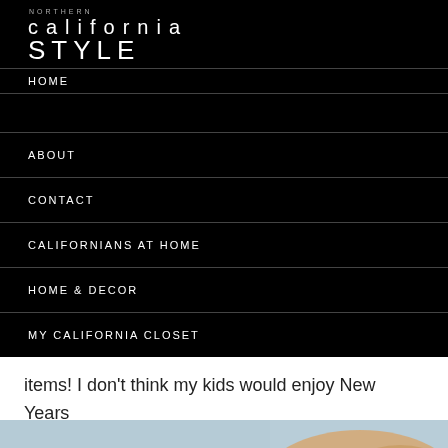NORTHERN california STYLE
HOME
ABOUT
CONTACT
CALIFORNIANS AT HOME
HOME & DECOR
MY CALIFORNIA CLOSET
them as well with obnoxious hats and exploding items! I don't think my kids would enjoy New Years if we weren't there.
[Figure (photo): Partial view of a photograph showing light blue/sky tones on the left and warm blonde hair tones on the right]